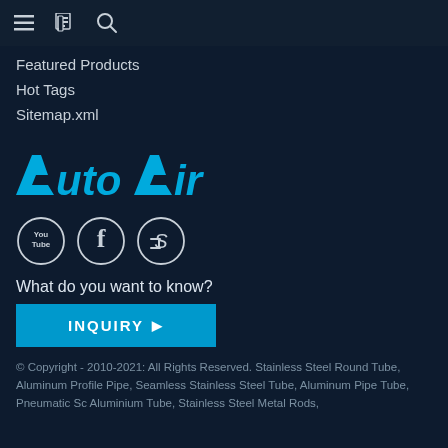≡ 🗂 🔍
Featured Products
Hot Tags
Sitemap.xml
[Figure (logo): AutoAir company logo in cyan/blue color on dark background]
[Figure (illustration): Three circular social media icons: YouTube, Facebook, Skype]
What do you want to know?
INQUIRY ▶
© Copyright - 2010-2021: All Rights Reserved. Stainless Steel Round Tube, Aluminum Profile Pipe, Seamless Stainless Steel Tube, Aluminum Pipe Tube, Pneumatic Sc Aluminium Tube, Stainless Steel Metal Rods,